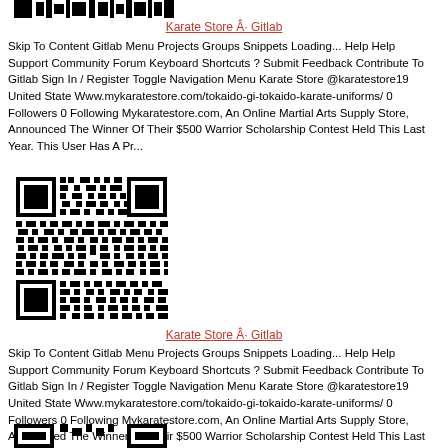[Figure (other): Partial QR code / logo image at top of page]
Karate Store Â· Gitlab
Skip To Content Gitlab Menu Projects Groups Snippets Loading... Help Help Support Community Forum Keyboard Shortcuts ? Submit Feedback Contribute To Gitlab Sign In / Register Toggle Navigation Menu Karate Store @karatestore19 United State Www.mykaratestore.com/tokaido-gi-tokaido-karate-uniforms/ 0 Followers 0 Following Mykaratestore.com, An Online Martial Arts Supply Store, Announced The Winner Of Their $500 Warrior Scholarship Contest Held This Last Year. This User Has A Pr...
[Figure (other): QR code image in the middle section of the page]
Karate Store Â· Gitlab
Skip To Content Gitlab Menu Projects Groups Snippets Loading... Help Help Support Community Forum Keyboard Shortcuts ? Submit Feedback Contribute To Gitlab Sign In / Register Toggle Navigation Menu Karate Store @karatestore19 United State Www.mykaratestore.com/tokaido-gi-tokaido-karate-uniforms/ 0 Followers 0 Following Mykaratestore.com, An Online Martial Arts Supply Store, Announced The Winner Of Their $500 Warrior Scholarship Contest Held This Last Year. This User Has A Pr...
[Figure (other): Partial QR code image at bottom of page]